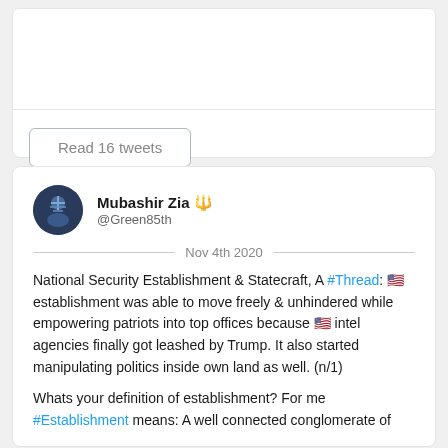[Figure (screenshot): Top portion of a tweet card showing an image area and a 'Read 16 tweets' button]
Read 16 tweets
Mubashir Zia 🔱
@Green85th
Nov 4th 2020
National Security Establishment & Statecraft, A #Thread: 🇺🇸 establishment was able to move freely & unhindered while empowering patriots into top offices because 🇺🇸 intel agencies finally got leashed by Trump. It also started manipulating politics inside own land as well. (n/1)
Whats your definition of establishment? For me #Establishment means: A well connected conglomerate of